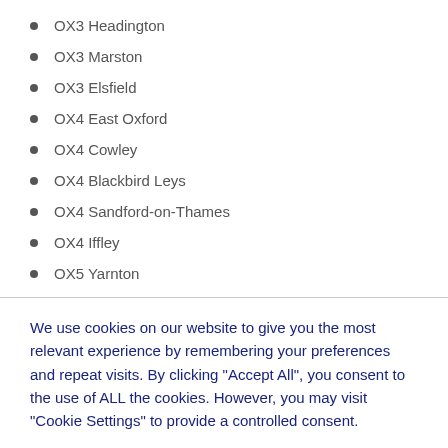OX3 Headington
OX3 Marston
OX3 Elsfield
OX4 East Oxford
OX4 Cowley
OX4 Blackbird Leys
OX4 Sandford-on-Thames
OX4 Iffley
OX5 Yarnton
We use cookies on our website to give you the most relevant experience by remembering your preferences and repeat visits. By clicking "Accept All", you consent to the use of ALL the cookies. However, you may visit "Cookie Settings" to provide a controlled consent.